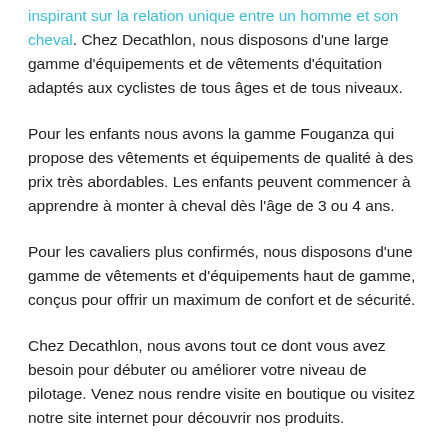inspirant sur la relation unique entre un homme et son cheval. Chez Decathlon, nous disposons d'une large gamme d'équipements et de vêtements d'équitation adaptés aux cyclistes de tous âges et de tous niveaux.
Pour les enfants nous avons la gamme Fouganza qui propose des vêtements et équipements de qualité à des prix très abordables. Les enfants peuvent commencer à apprendre à monter à cheval dès l'âge de 3 ou 4 ans.
Pour les cavaliers plus confirmés, nous disposons d'une gamme de vêtements et d'équipements haut de gamme, conçus pour offrir un maximum de confort et de sécurité.
Chez Decathlon, nous avons tout ce dont vous avez besoin pour débuter ou améliorer votre niveau de pilotage. Venez nous rendre visite en boutique ou visitez notre site internet pour découvrir nos produits.